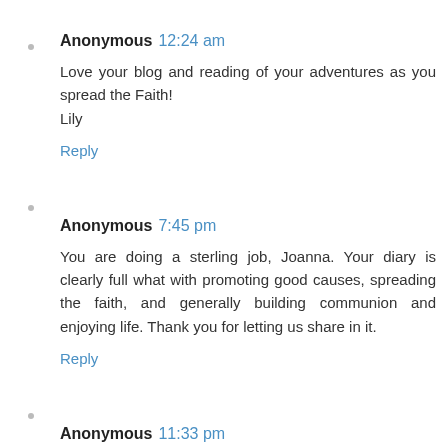Anonymous 12:24 am
Love your blog and reading of your adventures as you spread the Faith!
Lily
Reply
Anonymous 7:45 pm
You are doing a sterling job, Joanna. Your diary is clearly full what with promoting good causes, spreading the faith, and generally building communion and enjoying life. Thank you for letting us share in it.
Reply
Anonymous 11:33 pm
do not change a thing. I love the way you write. i like mary am brought imto a different world. God bless you